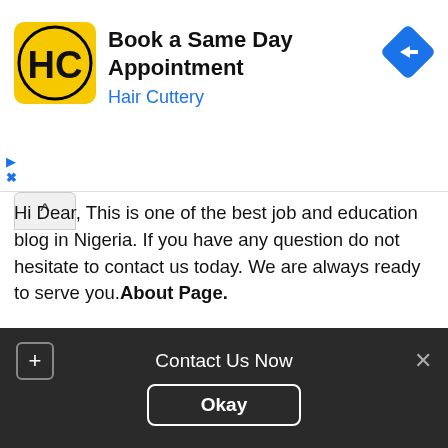[Figure (screenshot): Advertisement banner for Hair Cuttery with yellow logo, bold title 'Book a Same Day Appointment', blue subtitle 'Hair Cuttery', and blue navigation diamond icon on the right.]
Hi Dear, This is one of the best job and education blog in Nigeria. If you have any question do not hesitate to contact us today. We are always ready to serve you.About Page.
[Figure (photo): Outdoor photo showing green leafy trees and a building in the background.]
Contact Us Now
Okay